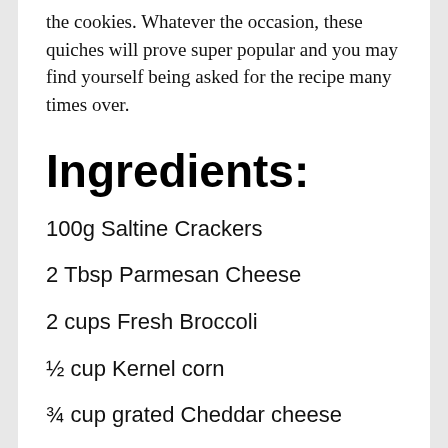the cookies. Whatever the occasion, these quiches will prove super popular and you may find yourself being asked for the recipe many times over.
Ingredients:
100g Saltine Crackers
2 Tbsp Parmesan Cheese
2 cups Fresh Broccoli
½ cup Kernel corn
¾ cup grated Cheddar cheese